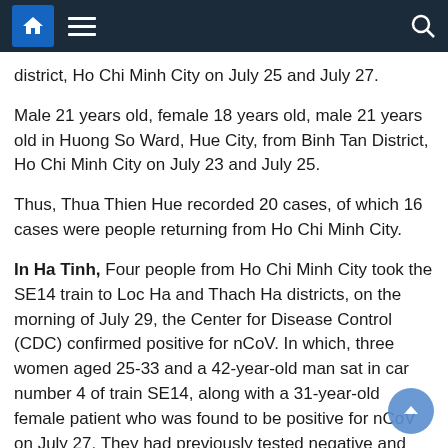Navigation bar with home, menu, and search icons
district, Ho Chi Minh City on July 25 and July 27.
Male 21 years old, female 18 years old, male 21 years old in Huong So Ward, Hue City, from Binh Tan District, Ho Chi Minh City on July 23 and July 25.
Thus, Thua Thien Hue recorded 20 cases, of which 16 cases were people returning from Ho Chi Minh City.
In Ha Tinh, Four people from Ho Chi Minh City took the SE14 train to Loc Ha and Thach Ha districts, on the morning of July 29, the Center for Disease Control (CDC) confirmed positive for nCoV. In which, three women aged 25-33 and a 42-year-old man sat in car number 4 of train SE14, along with a 31-year-old female patient who was found to be positive for nCoV on July 27. They had previously tested negative and were isolated.